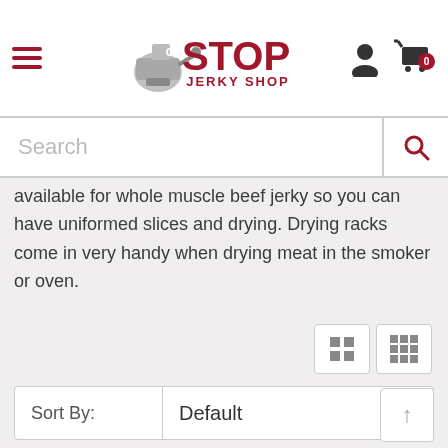[Figure (logo): One Stop Jerky Shop logo with meat grinder icon]
Search
available for whole muscle beef jerky so you can have uniformed slices and drying. Drying racks come in very handy when drying meat in the smoker or oven.
Sort By: Default
Show: 12
-31%